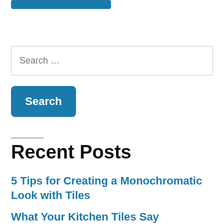[Figure (screenshot): A blue button/pill element at top of page (partially cropped)]
Search …
Search
Recent Posts
5 Tips for Creating a Monochromatic Look with Tiles
What Your Kitchen Tiles Say